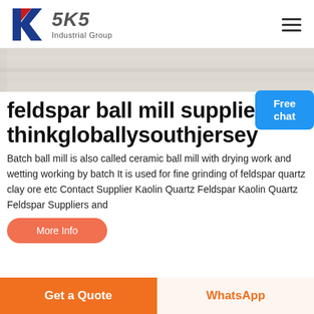[Figure (logo): SKS Industrial Group logo with red/blue K letter mark and SKS text]
[Figure (photo): Horizontal banner/hero image showing a light grey/beige surface, likely a ball mill or industrial equipment surface]
feldspar ball mill supplier thinkgloballysouthjersey
Batch ball mill is also called ceramic ball mill with drying work and wetting working by batch It is used for fine grinding of feldspar quartz clay ore etc Contact Supplier Kaolin Quartz Feldspar Kaolin Quartz Feldspar Suppliers and
More Info
Get a Quote
WhatsApp